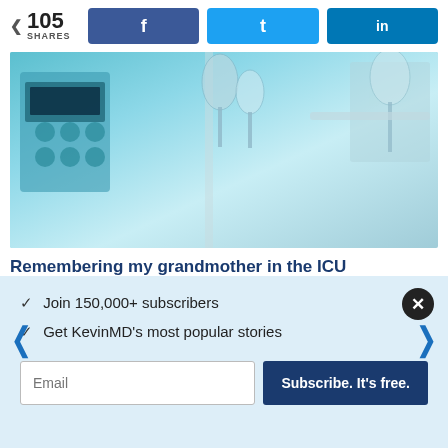[Figure (infographic): Social share bar with 105 shares count and Facebook, Twitter, LinkedIn buttons]
[Figure (photo): ICU medical equipment photo with IV drips and hospital monitors in blue-tinted tones]
Remembering my grandmother in the ICU
DR. NATASHA KHALID | PHYSICIAN
[Figure (photo): Partial second article image strip at bottom of card]
✓ Join 150,000+ subscribers
✓ Get KevinMD's most popular stories
Email  Subscribe. It's free.